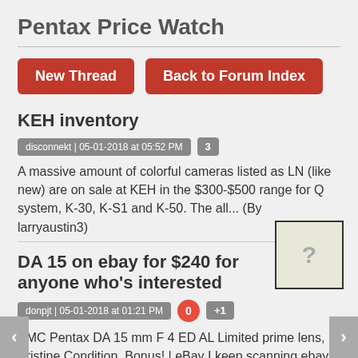Pentax Price Watch
New Thread
Back to Forum Index
KEH inventory
disconnekt | 05-01-2018 at 05:52 PM  3
[Figure (other): Placeholder thumbnail with question mark for KEH inventory thread]
A massive amount of colorful cameras listed as LN (like new) are on sale at KEH in the $300-$500 range for Q system, K-30, K-S1 and K-50. The all... (By larryaustin3)
DA 15 on ebay for $240 for anyone who's interested
donpjt | 05-01-2018 at 01:21 PM  0  +1
[Figure (other): Placeholder thumbnail with question mark for DA 15 on ebay thread]
SMC Pentax DA 15 mm F 4 ED AL Limited prime lens, Pristine Condition, Bonus! | eBay I keep scanning ebay and came upon